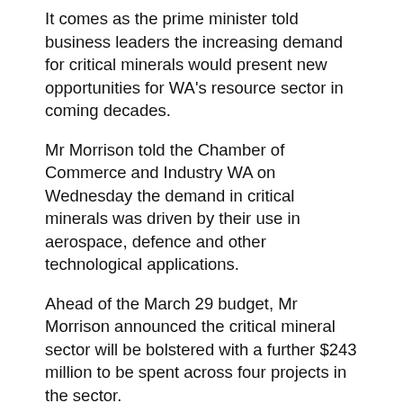It comes as the prime minister told business leaders the increasing demand for critical minerals would present new opportunities for WA's resource sector in coming decades.
Mr Morrison told the Chamber of Commerce and Industry WA on Wednesday the demand in critical minerals was driven by their use in aerospace, defence and other technological applications.
Ahead of the March 29 budget, Mr Morrison announced the critical mineral sector will be bolstered with a further $243 million to be spent across four projects in the sector.
The government is also providing a further $200 million over five years through its critical minerals accelerator initiative to support strategically significant projects.
The initiative will consider proposals ranging between $1 million and $30 million for each